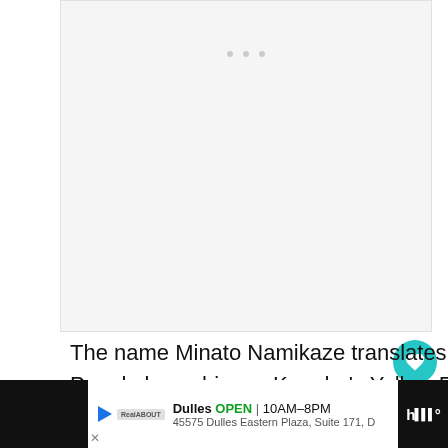[Figure (other): Large white/blank image placeholder area with light gray background]
The name Minato Namikaze translates into Fourth Fire Shadow. People know him as Konoha's Yellow Flash. He is not only fighter but a great father.
[Figure (other): WHAT'S NEXT → thumbnail with text: 22 Best male and female...]
Dulles OPEN 10AM–8PM 45575 Dulles Eastern Plaza, Suite 171, D